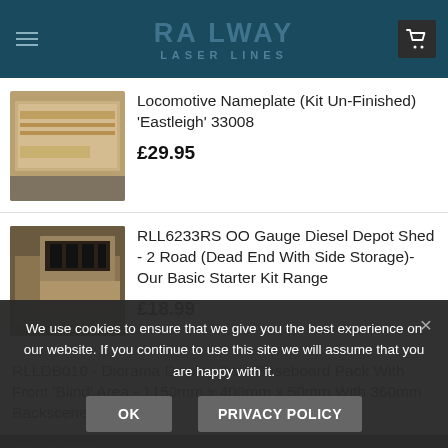RAILWAY LASER LINES
Locomotive Nameplate (Kit Un-Finished) 'Eastleigh' 33008 — £29.95
RLL6233RS OO Gauge Diesel Depot Shed - 2 Road (Dead End With Side Storage)- Our Basic Starter Kit Range — £18.99
RLLDB010 - Diorama Display Twin Baseboard Pack With Front 'Blind' Area - 1150mm x 400mm x 50mm With 360mm Backscene
FEATURED
We use cookies to ensure that we give you the best experience on our website. If you continue to use this site we will assume that you are happy with it.
OK   PRIVACY POLICY